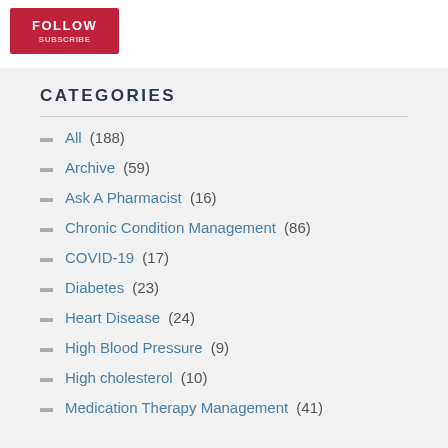[Figure (other): Red FOLLOW button with subscribe text below]
CATEGORIES
All (188)
Archive (59)
Ask A Pharmacist (16)
Chronic Condition Management (86)
COVID-19 (17)
Diabetes (23)
Heart Disease (24)
High Blood Pressure (9)
High cholesterol (10)
Medication Therapy Management (41)